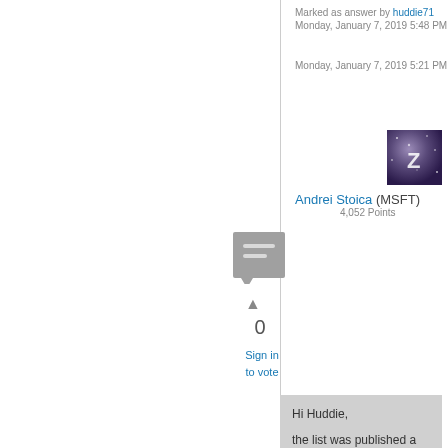Marked as answer by huddie71 Monday, January 7, 2019 5:48 PM
Monday, January 7, 2019 5:21 PM
[Figure (photo): User avatar with purple/galaxy background and letter Z]
Andrei Stoica (MSFT) 4,052 Points
[Figure (illustration): Gray comment/answer icon square with chat bubble]
0
Sign in to vote
Hi Huddie,

the list was published a few months back when the SSUs were re-classified as Security